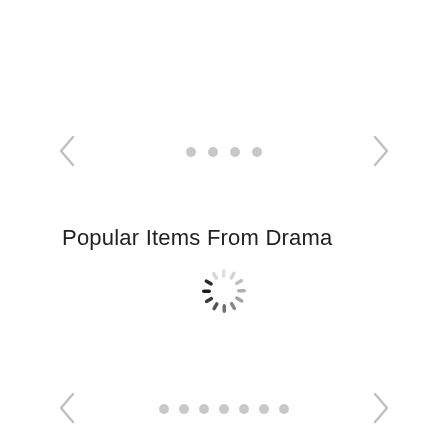[Figure (other): Left navigation arrow (chevron) at top]
[Figure (other): Right navigation arrow (chevron) at top]
[Figure (other): Four pagination dots at top center]
Popular Items From Drama
[Figure (other): Loading spinner icon in center of page]
[Figure (other): Left navigation arrow (chevron) at bottom]
[Figure (other): Right navigation arrow (chevron) at bottom]
[Figure (other): Seven pagination dots at bottom center]